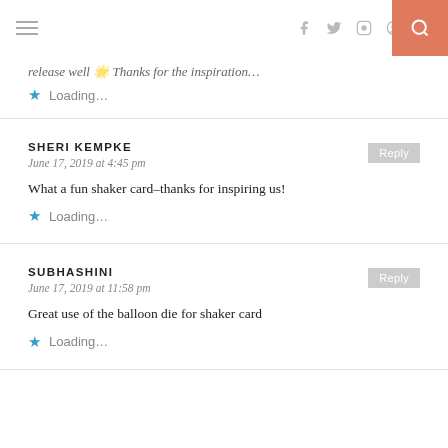Navigation and social icons header
release well 🌟 Thanks for the inspiration…
Loading...
SHERI KEMPKE
June 17, 2019 at 4:45 pm
What a fun shaker card–thanks for inspiring us!
Loading...
SUBHASHINI
June 17, 2019 at 11:58 pm
Great use of the balloon die for shaker card
Loading...